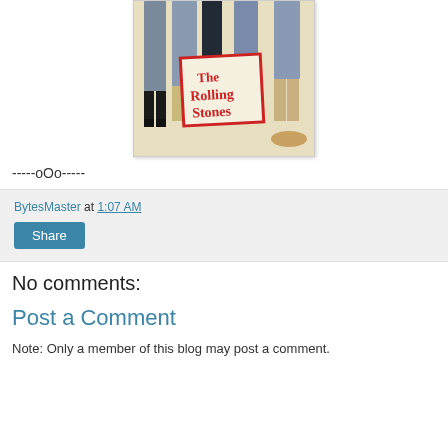[Figure (photo): Album cover or promotional image of The Rolling Stones showing band members from waist down wearing shorts, with a red-bordered logo reading 'The Rolling Stones']
-----oOo-----
BytesMaster at 1:07 AM
Share
No comments:
Post a Comment
Note: Only a member of this blog may post a comment.